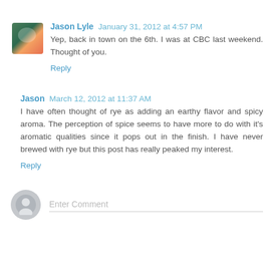Jason Lyle  January 31, 2012 at 4:57 PM
Yep, back in town on the 6th. I was at CBC last weekend. Thought of you.
Reply
Jason  March 12, 2012 at 11:37 AM
I have often thought of rye as adding an earthy flavor and spicy aroma. The perception of spice seems to have more to do with it's aromatic qualities since it pops out in the finish. I have never brewed with rye but this post has really peaked my interest.
Reply
Enter Comment